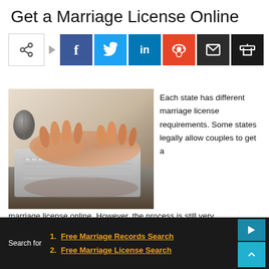Get a Marriage License Online
[Figure (infographic): Social share button bar with share icon, arrow, Facebook, Twitter, LinkedIn, Reddit, Email, and Print buttons]
[Figure (photo): Photo of hands typing on a laptop keyboard, with a mouse visible in the background]
Each state has different marriage license requirements. Some states legally allow couples to get a marriage license online. However, the process is still very
marriage license online. However, the process is still very
1. Free Marriage Records Search
2. Free Marriage License Search